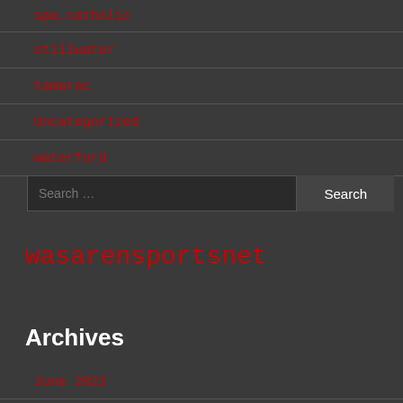spa.catholic
stillwater
tamarac
Uncategorized
waterford
Search …  [Search button]
wasarensportsnet
Archives
June 2022